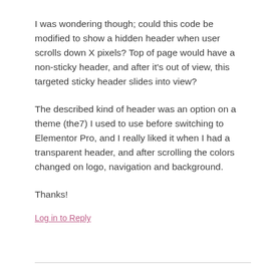I was wondering though; could this code be modified to show a hidden header when user scrolls down X pixels? Top of page would have a non-sticky header, and after it's out of view, this targeted sticky header slides into view?
The described kind of header was an option on a theme (the7) I used to use before switching to Elementor Pro, and I really liked it when I had a transparent header, and after scrolling the colors changed on logo, navigation and background.
Thanks!
Log in to Reply